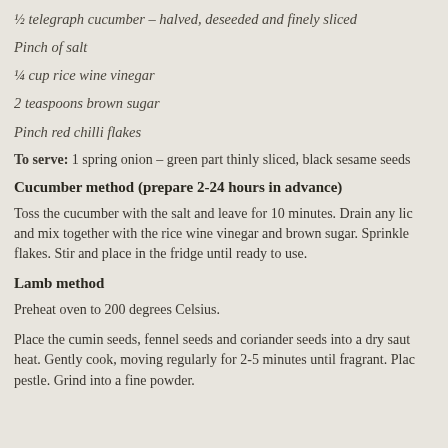½ telegraph cucumber – halved, deseeded and finely sliced
Pinch of salt
¼ cup rice wine vinegar
2 teaspoons brown sugar
Pinch red chilli flakes
To serve: 1 spring onion – green part thinly sliced, black sesame seeds
Cucumber method (prepare 2-24 hours in advance)
Toss the cucumber with the salt and leave for 10 minutes. Drain any lic and mix together with the rice wine vinegar and brown sugar. Sprinkle flakes. Stir and place in the fridge until ready to use.
Lamb method
Preheat oven to 200 degrees Celsius.
Place the cumin seeds, fennel seeds and coriander seeds into a dry saut heat. Gently cook, moving regularly for 2-5 minutes until fragrant. Plac pestle. Grind into a fine powder.